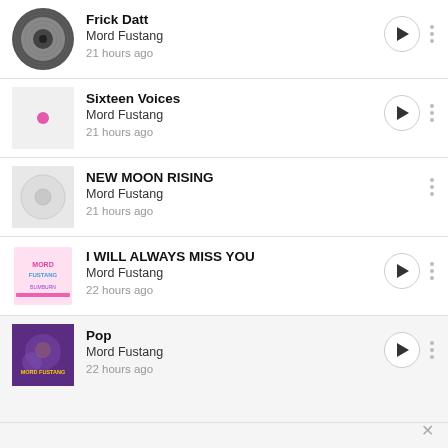Frick Datt · Mord Fustang · 21 hours ago
Sixteen Voices · Mord Fustang · 21 hours ago
NEW MOON RISING · Mord Fustang · 21 hours ago
I WILL ALWAYS MISS YOU · Mord Fustang · 22 hours ago
Pop · Mord Fustang · 22 hours ago